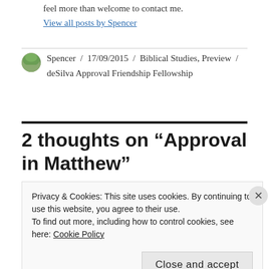feel more than welcome to contact me.
View all posts by Spencer
Spencer / 17/09/2015 / Biblical Studies, Preview / deSilva Approval Friendship Fellowship
2 thoughts on “Approval in Matthew”
Privacy & Cookies: This site uses cookies. By continuing to use this website, you agree to their use.
To find out more, including how to control cookies, see here: Cookie Policy
Close and accept